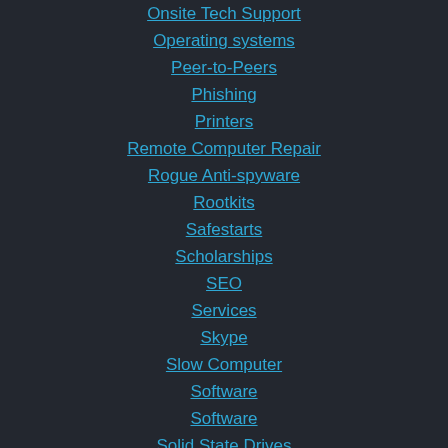Onsite Tech Support
Operating systems
Peer-to-Peers
Phishing
Printers
Remote Computer Repair
Rogue Anti-spyware
Rootkits
Safestarts
Scholarships
SEO
Services
Skype
Slow Computer
Software
Software
Solid State Drives
Spam